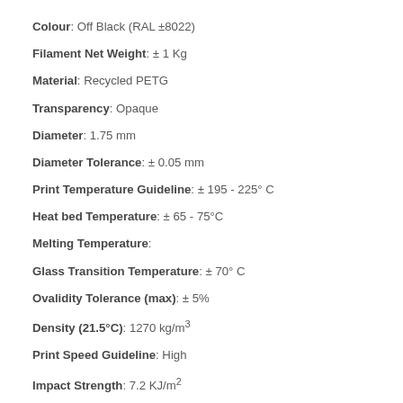Colour: Off Black (RAL ±8022)
Filament Net Weight: ± 1 Kg
Material: Recycled PETG
Transparency: Opaque
Diameter: 1.75 mm
Diameter Tolerance: ± 0.05 mm
Print Temperature Guideline: ± 195 - 225° C
Heat bed Temperature: ± 65 - 75°C
Melting Temperature:
Glass Transition Temperature: ± 70° C
Ovalidity Tolerance (max): ± 5%
Density (21.5°C): 1270 kg/m³
Print Speed Guideline: High
Impact Strength: 7.2 KJ/m²
Tensile Modulus: 1940 Mpa